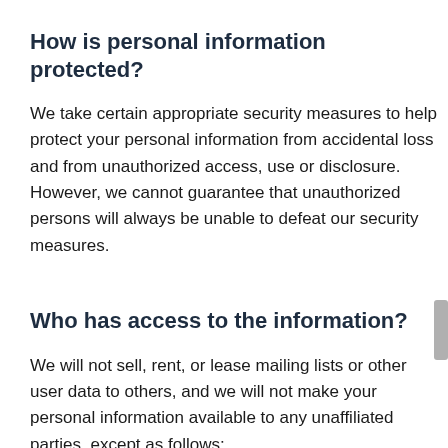How is personal information protected?
We take certain appropriate security measures to help protect your personal information from accidental loss and from unauthorized access, use or disclosure. However, we cannot guarantee that unauthorized persons will always be unable to defeat our security measures.
Who has access to the information?
We will not sell, rent, or lease mailing lists or other user data to others, and we will not make your personal information available to any unaffiliated parties, except as follows: